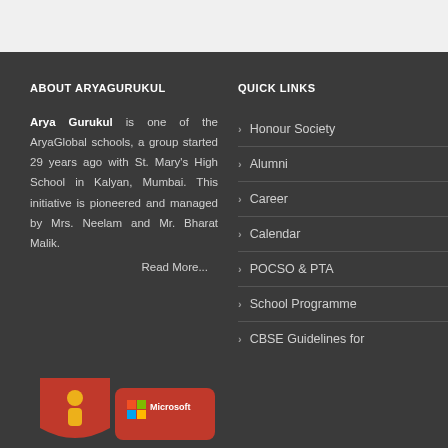ABOUT ARYAGURUKUL
Arya Gurukul is one of the AryaGlobal schools, a group started 29 years ago with St. Mary's High School in Kalyan, Mumbai. This initiative is pioneered and managed by Mrs. Neelam and Mr. Bharat Malik.
Read More...
QUICK LINKS
Honour Society
Alumni
Career
Calendar
POCSO & PTA
School Programme
CBSE Guidelines for
[Figure (logo): Microsoft badge logo on red shield background]